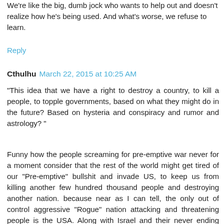We're like the big, dumb jock who wants to help out and doesn't realize how he's being used. And what's worse, we refuse to learn.
Reply
Cthulhu  March 22, 2015 at 10:25 AM
"This idea that we have a right to destroy a country, to kill a people, to topple governments, based on what they might do in the future? Based on hysteria and conspiracy and rumor and astrology? "
Funny how the people screaming for pre-emptive war never for a moment consider that the rest of the world might get tired of our "Pre-emptive" bullshit and invade US, to keep us from killing another few hundred thousand people and destroying another nation. because near as I can tell, the only out of control aggressive "Rogue" nation attacking and threatening people is the USA. Along with Israel and their never ending "Let's you and him fight" nonsense.